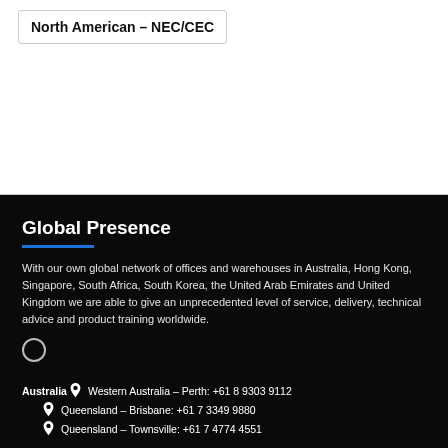North American – NEC/CEC
Global Presence
With our own global network of offices and warehouses in Australia, Hong Kong, Singapore, South Africa, South Korea, the United Arab Emirates and United Kingdom we are able to give an unprecedented level of service, delivery, technical advice and product training worldwide.
[Figure (illustration): Globe/world icon]
Australia  Western Australia – Perth: +61 8 9303 9112
Queensland – Brisbane: +61 7 3349 9880
Queensland – Townsville: +61 7 4774 4551